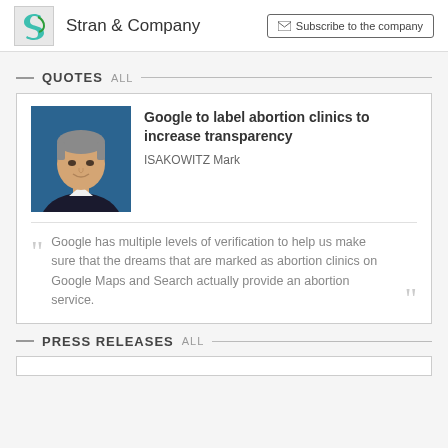Stran & Company | Subscribe to the company
QUOTES   ALL
[Figure (photo): Headshot of Mark Isakowitz, a middle-aged man with gray hair wearing a dark jacket against a blue background]
Google to label abortion clinics to increase transparency
ISAKOWITZ Mark
Google has multiple levels of verification to help us make sure that the dreams that are marked as abortion clinics on Google Maps and Search actually provide an abortion service.
PRESS RELEASES   ALL